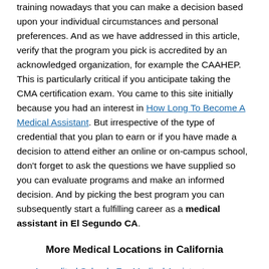training nowadays that you can make a decision based upon your individual circumstances and personal preferences. And as we have addressed in this article, verify that the program you pick is accredited by an acknowledged organization, for example the CAAHEP. This is particularly critical if you anticipate taking the CMA certification exam. You came to this site initially because you had an interest in How Long To Become A Medical Assistant. But irrespective of the type of credential that you plan to earn or if you have made a decision to attend either an online or on-campus school, don't forget to ask the questions we have supplied so you can evaluate programs and make an informed decision. And by picking the best program you can subsequently start a fulfilling career as a medical assistant in El Segundo CA.
More Medical Locations in California
Accredited Schools For Medical Assistant Georgetown CA